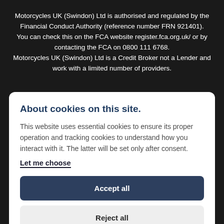Motorcycles UK (Swindon) Ltd is authorised and regulated by the Financial Conduct Authority (reference number FRN 921401). You can check this on the FCA website register.fca.org.uk/ or by contacting the FCA on 0800 111 6768. Motorcycles UK (Swindon) Ltd is a Credit Broker not a Lender and work with a limited number of providers.
About cookies on this site.
This website uses essential cookies to ensure its proper operation and tracking cookies to understand how you interact with it. The latter will be set only after consent.
Let me choose
Accept all
Reject all